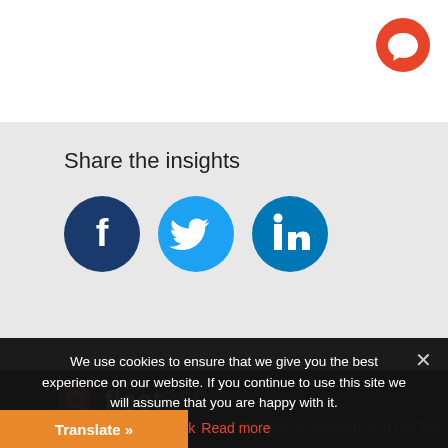[Figure (illustration): Red circular chat/comment button icon in top right corner]
Share the insights
[Figure (illustration): Three social media sharing buttons: Facebook (dark blue circle with f icon), Twitter (light blue circle with bird icon), LinkedIn (teal circle with in icon)]
[Figure (logo): Fleet360 logo - red hexagon with white p/magnifier icon followed by 'fleet' in white and '360' in red text]
Fleet360 is the result of over 30 years of experience in the fleet...
We use cookies to ensure that we give you the best experience on our website. If you continue to use this site we will assume that you are happy with it.
Ok  Read more
Translate »